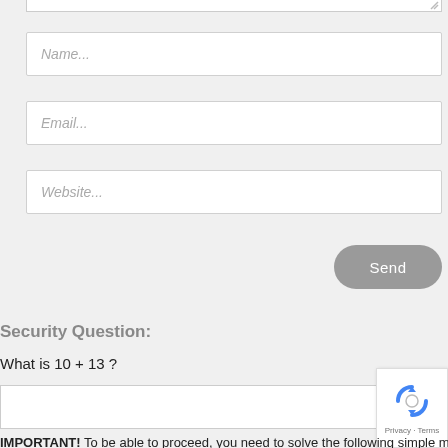[Figure (screenshot): Top edge of a textarea input field with a resize handle in the bottom-right corner]
Name...
Email...
Website...
Send
Security Question:
What is 10 + 13 ?
[Figure (screenshot): Empty answer input field for the security question]
[Figure (logo): Google reCAPTCHA badge with spinning arrows icon and Privacy · Terms text]
IMPORTANT! To be able to proceed, you need to solve the following simple math (so